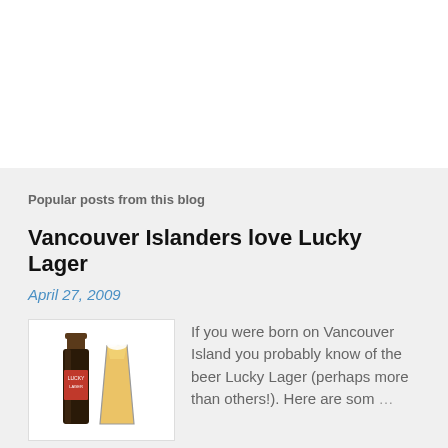Popular posts from this blog
Vancouver Islanders love Lucky Lager
April 27, 2009
[Figure (photo): A dark beer bottle and a glass of golden lager beer on a white background]
If you were born on Vancouver Island you probably know of the beer Lucky Lager (perhaps more than others!). Here are some …
READ MORE
Vancouver Island's Best Breakfast/Brunch